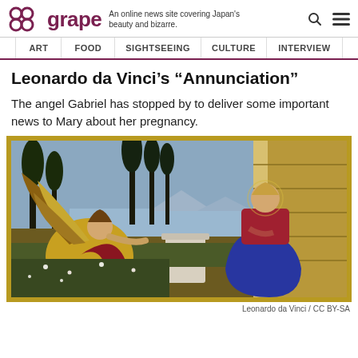grape — An online news site covering Japan's beauty and bizarre.
ART | FOOD | SIGHTSEEING | CULTURE | INTERVIEW
Leonardo da Vinci's “Annunciation”
The angel Gabriel has stopped by to deliver some important news to Mary about her pregnancy.
[Figure (photo): Leonardo da Vinci's painting 'Annunciation' showing the angel Gabriel on the left kneeling in a garden, gesturing toward the Virgin Mary seated on the right before a building, with a landscape and water visible in the background. The painting is displayed in a gold frame.]
Leonardo da Vinci / CC BY-SA